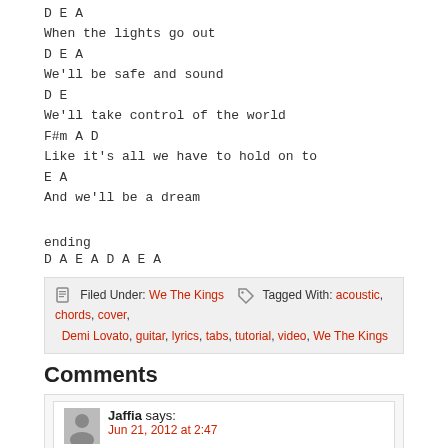D E A
When the lights go out
D E A
We'll be safe and sound
D E
We'll take control of the world
F#m A D
Like it's all we have to hold on to
E A
And we'll be a dream
ending
D A E A D A E A
Filed Under: We The Kings  Tagged With: acoustic, chords, cover, Demi Lovato, guitar, lyrics, tabs, tutorial, video, We The Kings
Comments
Jaffia says: